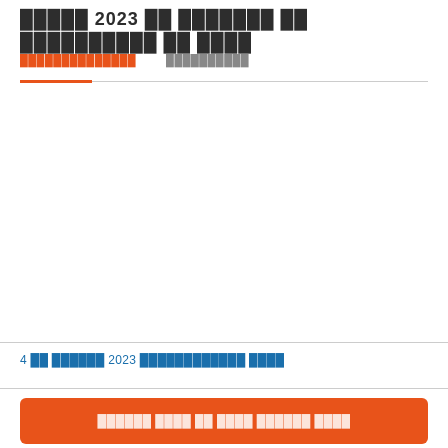█████ 2023 ██ ███████ ██ ████████████ ██ ████
██████████████    ████████
4 ██ ███████ 2023 ████████████ ████
███████ ████ ██ ████ ███████ █████